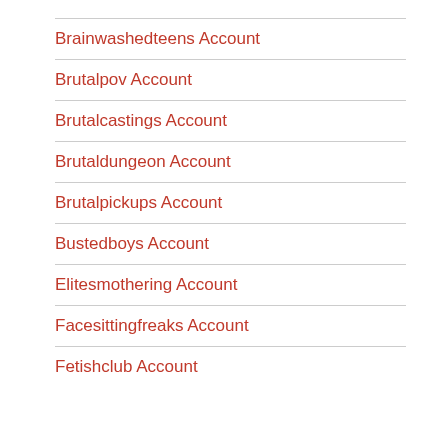Brainwashedteens Account
Brutalpov Account
Brutalcastings Account
Brutaldungeon Account
Brutalpickups Account
Bustedboys Account
Elitesmothering Account
Facesittingfreaks Account
Fetishclub Account